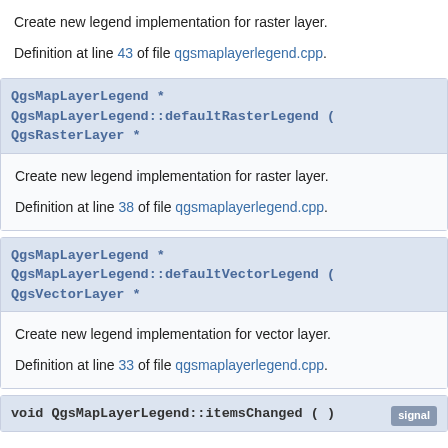Create new legend implementation for raster layer.

Definition at line 43 of file qgsmaplayerlegend.cpp.
QgsMapLayerLegend * QgsMapLayerLegend::defaultRasterLegend ( QgsRasterLayer *
Create new legend implementation for raster layer.

Definition at line 38 of file qgsmaplayerlegend.cpp.
QgsMapLayerLegend * QgsMapLayerLegend::defaultVectorLegend ( QgsVectorLayer *
Create new legend implementation for vector layer.

Definition at line 33 of file qgsmaplayerlegend.cpp.
void QgsMapLayerLegend::itemsChanged ( )